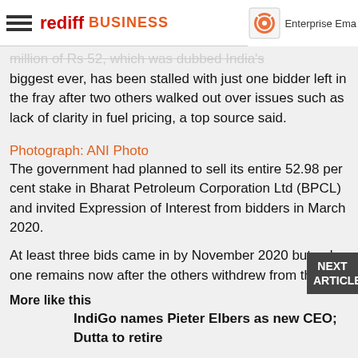rediff BUSINESS | Enterprise Ema...
...million of Rs 52, which was dubbed India's biggest ever, has been stalled with just one bidder left in the fray after two others walked out over issues such as lack of clarity in fuel pricing, a top source said.
Photograph: ANI Photo
The government had planned to sell its entire 52.98 per cent stake in Bharat Petroleum Corporation Ltd (BPCL) and invited Expression of Interest from bidders in March 2020.
At least three bids came in by November 2020 but only one remains now after the others withdrew from the...
More like this
IndiGo names Pieter Elbers as new CEO; Dutta to retire
"We are in a single bidder situation and it doesn't make sense that the single bidder dictates the narrative. So the